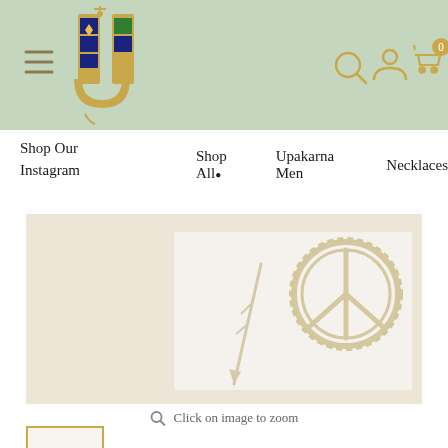[Figure (screenshot): E-commerce website header with sage green background, stylized letter U logo with anchor design and colorful beaded pattern, hamburger menu icon on left, search/user/cart icons on right with cart showing 0 items]
Shop Our Instagram
Shop All • Upakarna Men Necklaces
[Figure (photo): Product photo showing a peace sign brooch/pendant on a white card, with a small leaf/feather decoration, placed on a cream/beige textured fabric background]
Click on image to zoom
[Figure (photo): Small thumbnail image of the same product in a gold-bordered box at the bottom left]